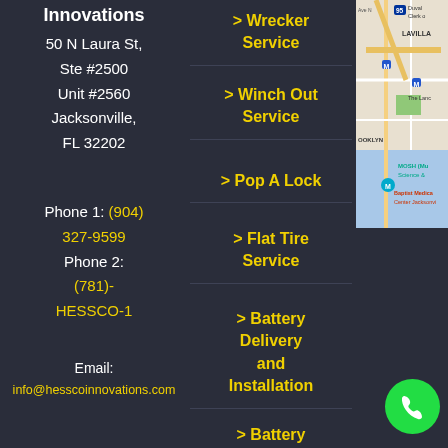Innovations
50 N Laura St, Ste #2500 Unit #2560 Jacksonville, FL 32202
Phone 1: (904) 327-9599
Phone 2: (781)-HESSCO-1
Email: info@hesscoinnovations.com
> Wrecker Service
> Winch Out Service
> Pop A Lock
> Flat Tire Service
> Battery Delivery and Installation
> Battery
[Figure (map): Google Maps screenshot showing Jacksonville FL area including LAVILLA, BROKLYN, MOSH (Museum of Science), Baptist Medical Center Jacksonville, and surrounding streets and waterways.]